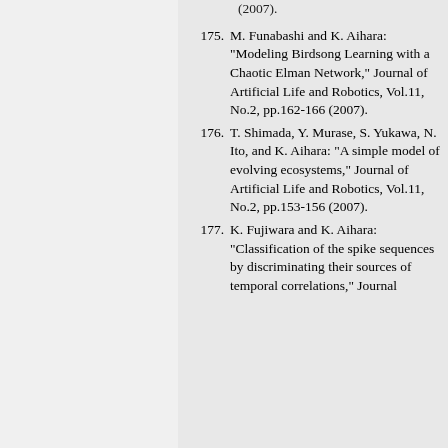(2007).
175. M. Funabashi and K. Aihara: "Modeling Birdsong Learning with a Chaotic Elman Network," Journal of Artificial Life and Robotics, Vol.11, No.2, pp.162-166 (2007).
176. T. Shimada, Y. Murase, S. Yukawa, N. Ito, and K. Aihara: "A simple model of evolving ecosystems," Journal of Artificial Life and Robotics, Vol.11, No.2, pp.153-156 (2007).
177. K. Fujiwara and K. Aihara: "Classification of the spike sequences by discriminating their sources of temporal correlations," Journal